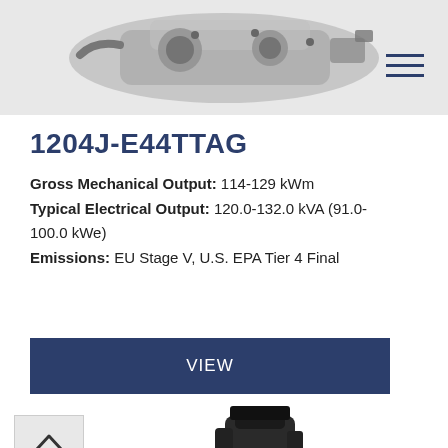[Figure (photo): Industrial engine component (transmission/generator assembly) shown from above on a white/grey background]
1204J-E44TTAG
Gross Mechanical Output: 114-129 kWm
Typical Electrical Output: 120.0-132.0 kVA (91.0-100.0 kWe)
Emissions: EU Stage V, U.S. EPA Tier 4 Final
VIEW
[Figure (photo): Industrial engine component (engine head/air filter assembly) shown partially at bottom of page]